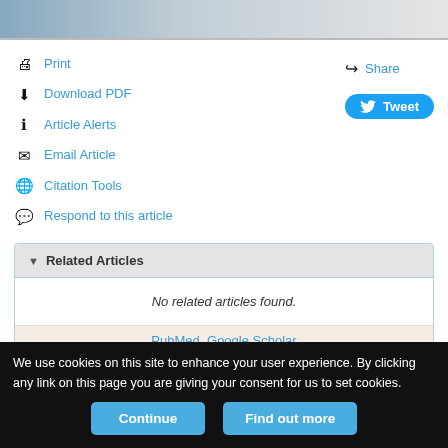[Figure (photo): Partial image of a person at top of page, cropped]
Print
Download PDF
Article Alerts
Email Article
Citation Tools
Respond to this article
Share
Tweet
Related Articles
No related articles found.
PubMed  Google Scholar
We use cookies on this site to enhance your user experience. By clicking any link on this page you are giving your consent for us to set cookies.